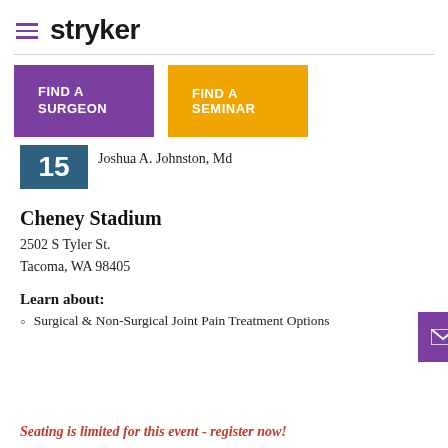stryker
FIND A SURGEON
FIND A SEMINAR
Joshua A. Johnston, Md
Cheney Stadium
2502 S Tyler St.
Tacoma, WA 98405
Learn about:
Surgical & Non-Surgical Joint Pain Treatment Options
Seating is limited for this event - register now!